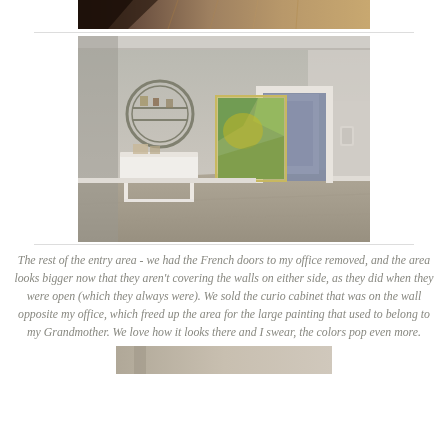[Figure (photo): Partial view of a room with wood flooring visible at the top of the page]
[Figure (photo): Interior entry area of a home with gray walls, wood-look flooring, a round metal shelf on the wall, a white console table, a large colorful painting, and a hallway leading to another room]
The rest of the entry area - we had the French doors to my office removed, and the area looks bigger now that they aren't covering the walls on either side, as they did when they were open (which they always were).  We sold the curio cabinet that was on the wall opposite my office, which freed up the area for the large painting that used to belong to my Grandmother.  We love how it looks there and I swear, the colors pop even more.
[Figure (photo): Bottom portion of another interior room photo, partially visible]